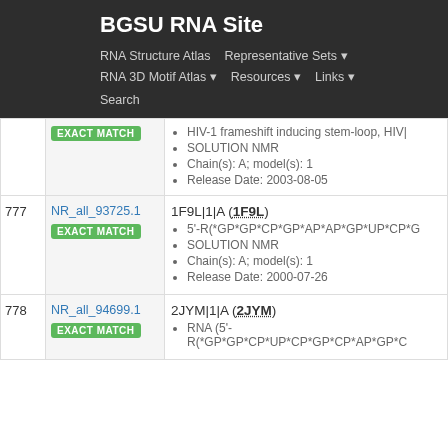BGSU RNA Site
RNA Structure Atlas | Representative Sets ▾ | RNA 3D Motif Atlas ▾ | Resources ▾ | Links ▾ | Search
| # | ID | Details |
| --- | --- | --- |
|  | EXACT MATCH | HIV-1 frameshift inducing stem-loop, HIV
SOLUTION NMR
Chain(s): A; model(s): 1
Release Date: 2003-08-05 |
| 777 | NR_all_93725.1
EXACT MATCH | 1F9L|1|A (1F9L)
5'-R(*GP*GP*CP*GP*AP*AP*GP*UP*CP*G
SOLUTION NMR
Chain(s): A; model(s): 1
Release Date: 2000-07-26 |
| 778 | NR_all_94699.1
EXACT MATCH | 2JYM|1|A (2JYM)
RNA (5'-R(*GP*GP*CP*UP*CP*GP*CP*AP*GP*C |